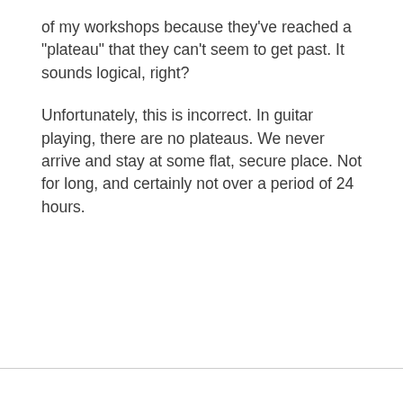of my workshops because they've reached a "plateau" that they can't seem to get past. It sounds logical, right?
Unfortunately, this is incorrect. In guitar playing, there are no plateaus. We never arrive and stay at some flat, secure place. Not for long, and certainly not over a period of 24 hours.